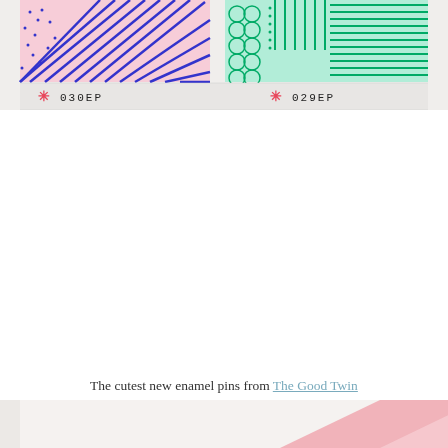[Figure (photo): Two decorative enamel pins displayed on backing cards. Left pin shows blue geometric pattern on pink background labeled '030EP', right pin shows green botanical/geometric pattern on mint background labeled '029EP'. Both cards have a red asterisk/star symbol and black text codes stamped on white backing strips.]
The cutest new enamel pins from The Good Twin
[Figure (photo): Partial view of another image showing white and pink geometric/origami shapes on a light background.]